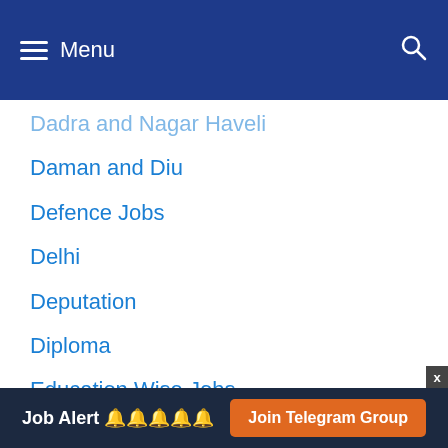Menu
Dadra and Nagar Haveli
Daman and Diu
Defence Jobs
Delhi
Deputation
Diploma
Education Wise Jobs
Employment News
Goa
Government Jobs
Graduation
Gujarat
Job Alert 🔔🔔🔔🔔🔔 Join Telegram Group